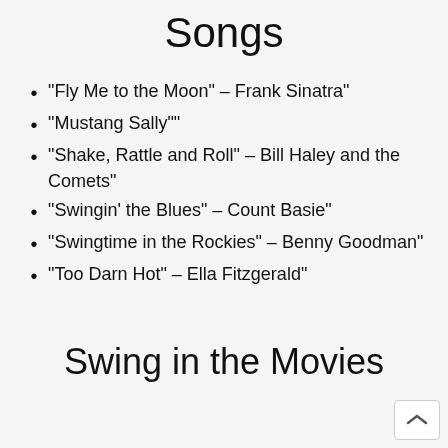Songs
“Fly Me to the Moon” – Frank Sinatra”
“Mustang Sally””
“Shake, Rattle and Roll” – Bill Haley and the Comets”
“Swingin’ the Blues” – Count Basie”
“Swingtime in the Rockies” – Benny Goodman”
“Too Darn Hot” – Ella Fitzgerald”
Swing in the Movies